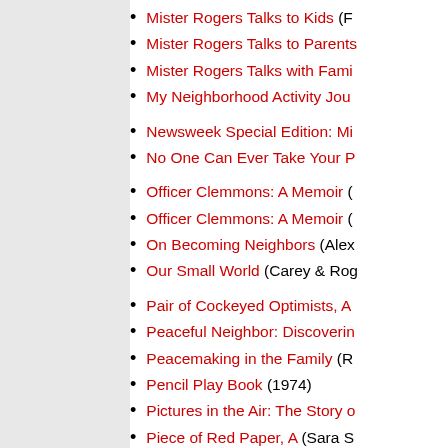Mister Rogers Talks to Kids (F...
Mister Rogers Talks to Parents...
Mister Rogers Talks with Fami...
My Neighborhood Activity Jou...
Newsweek Special Edition: Mi...
No One Can Ever Take Your P...
Officer Clemmons: A Memoir (...
Officer Clemmons: A Memoir (...
On Becoming Neighbors (Alex...
Our Small World (Carey & Rog...
Pair of Cockeyed Optimists, A...
Peaceful Neighbor: Discoverin...
Peacemaking in the Family (R...
Pencil Play Book (1974)
Pictures in the Air: The Story o...
Piece of Red Paper, A (Sara S...
Piece of Red Paper, A (Sara S...
Pieces of Wisdome Jigsaw Pu...
Pittsburgh Film and Television...
Planet Purple (Fred Rogers, 1...
Pocket Notebook Collection (...